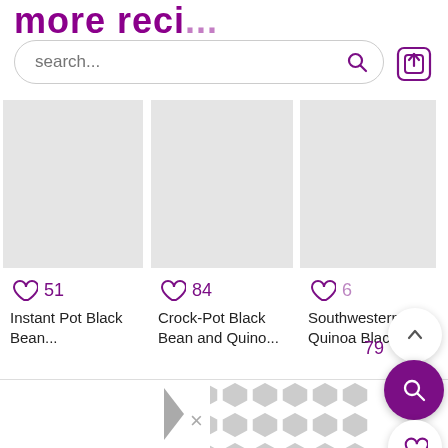more reci...
[Figure (screenshot): Search bar with placeholder 'search...' and magnifying glass icon, plus upload icon]
[Figure (screenshot): Recipe card: heart icon with 51 likes, title 'Instant Pot Black Bean...']
[Figure (screenshot): Recipe card: heart icon with 84 likes, title 'Crock-Pot Black Bean and Quino...']
[Figure (screenshot): Recipe card: heart icon with 65 likes and 79 count, title 'Southwestern Quinoa Black...']
[Figure (screenshot): Floating action buttons: up arrow, heart, and purple search button on right side]
[Figure (screenshot): Advertisement banner at bottom with geometric grey pattern]